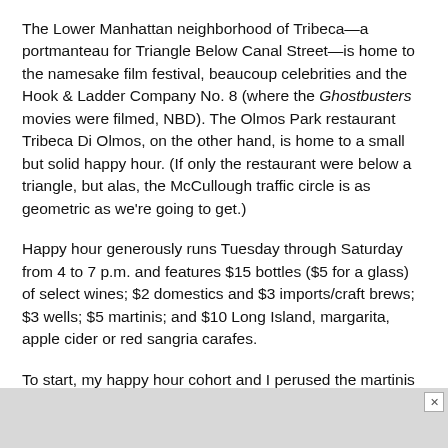The Lower Manhattan neighborhood of Tribeca—a portmanteau for Triangle Below Canal Street—is home to the namesake film festival, beaucoup celebrities and the Hook & Ladder Company No. 8 (where the Ghostbusters movies were filmed, NBD). The Olmos Park restaurant Tribeca Di Olmos, on the other hand, is home to a small but solid happy hour. (If only the restaurant were below a triangle, but alas, the McCullough traffic circle is as geometric as we're going to get.)
Happy hour generously runs Tuesday through Saturday from 4 to 7 p.m. and features $15 bottles ($5 for a glass) of select wines; $2 domestics and $3 imports/craft brews; $3 wells; $5 martinis; and $10 Long Island, margarita, apple cider or red sangria carafes.
To start, my happy hour cohort and I perused the martinis